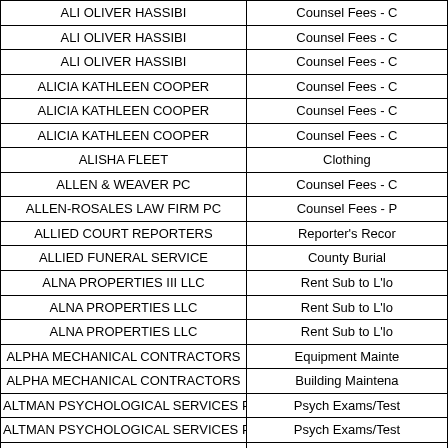| Vendor Name | Category |
| --- | --- |
| ALI OLIVER HASSIBI | Counsel Fees - C |
| ALI OLIVER HASSIBI | Counsel Fees - C |
| ALI OLIVER HASSIBI | Counsel Fees - C |
| ALICIA KATHLEEN COOPER | Counsel Fees - C |
| ALICIA KATHLEEN COOPER | Counsel Fees - C |
| ALICIA KATHLEEN COOPER | Counsel Fees - C |
| ALISHA FLEET | Clothing |
| ALLEN & WEAVER PC | Counsel Fees - C |
| ALLEN-ROSALES LAW FIRM PC | Counsel Fees - P |
| ALLIED COURT REPORTERS | Reporter's Recor |
| ALLIED FUNERAL SERVICE | County Burial |
| ALNA PROPERTIES III LLC | Rent Sub to L'lo |
| ALNA PROPERTIES LLC | Rent Sub to L'lo |
| ALNA PROPERTIES LLC | Rent Sub to L'lo |
| ALPHA MECHANICAL CONTRACTORS | Equipment Mainte |
| ALPHA MECHANICAL CONTRACTORS | Building Maintena |
| ALTMAN PSYCHOLOGICAL SERVICES PLLC | Psych Exams/Test |
| ALTMAN PSYCHOLOGICAL SERVICES PLLC | Psych Exams/Test |
| ALVEY REAL ESTATE LLC | Rent Sub to L'lo |
| AMBIT ENERGY LLC | Utility Allowance |
| AMBIT ENERGY LLC | HAP Reimb Por |
| AMBIT ENERGY LLC | Utility Allowance |
| AMBIT ENERGY LLC | Utility Assistance |
| AMBIT ENERGY LLC | Utility Allowanc |